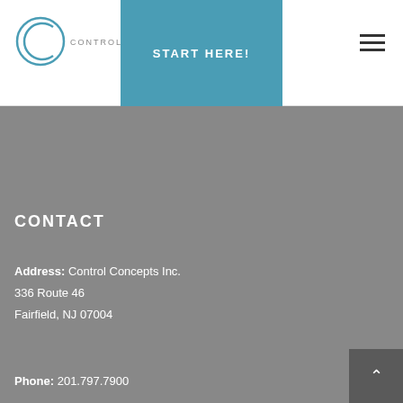CONTROL CONCEPTS
START HERE!
CONTACT
Address:
Control Concepts Inc.
336 Route 46
Fairfield, NJ 07004
Phone:
201.797.7900